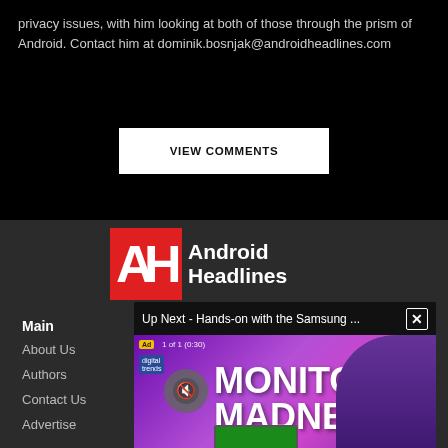privacy issues, with him looking at both of those through the prism of Android. Contact him at dominik.bosnjak@androidheadlines.com
VIEW COMMENTS
[Figure (logo): Android Headlines logo with red AH graphic and bold white text]
[Figure (screenshot): Video ad popup: 'Up Next - Hands-on with the Samsung ...' with X close button, showing ad 1 of 1 (0:30), Monitor Madness advertisement with person in glasses]
Main
About Us
Authors
Contact Us
Advertise